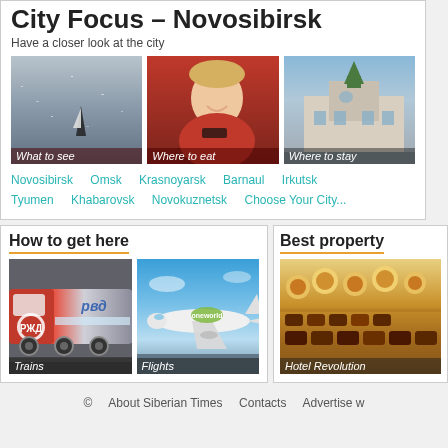City Focus – Novosibirsk
Have a closer look at the city
[Figure (photo): Sailboat on sparkling water with caption 'What to see']
[Figure (photo): Smiling woman in red uniform with caption 'Where to eat']
[Figure (photo): Historic building exterior with caption 'Where to stay']
Novosibirsk   Omsk   Krasnoyarsk   Barnaul   Irkutsk   Tyumen   Khabarovsk   Novokuznetsk   Choose Your City...
How to get here
[Figure (photo): Red train locomotive with caption 'Trains']
[Figure (photo): Oneworld airline plane in flight with caption 'Flights']
Best property
[Figure (photo): Hotel food spread - chocolates and pastries with caption 'Hotel Revolution']
© About Siberian Times Contacts Advertise w...